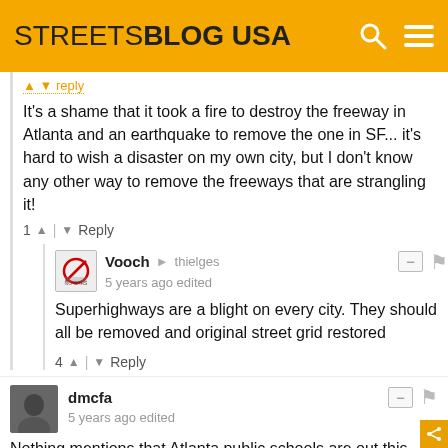STREETSBLOG USA
It's a shame that it took a fire to destroy the freeway in Atlanta and an earthquake to remove the one in SF... it's hard to wish a disaster on my own city, but I don't know any other way to remove the freeways that are strangling it!
1 ^ | v Reply
Vooch → thielges
5 years ago edited
Superhighways are a blight on every city. They should all be removed and original street grid restored
4 ^ | v Reply
dmcfa
5 years ago edited
Nothing mentions that Atlanta public schools are out this week for spring break. School goes back in session next week.
Jump in Public Transportation already is impressive. Park &